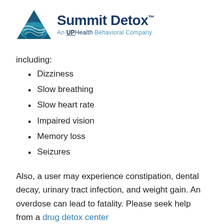[Figure (logo): Summit Detox logo with teal triangle wave graphic and text 'Summit Detox™ An UPHealth Behavioral Company']
including:
Dizziness
Slow breathing
Slow heart rate
Impaired vision
Memory loss
Seizures
Also, a user may experience constipation, dental decay, urinary tract infection, and weight gain. An overdose can lead to fatality. Please seek help from a drug detox center